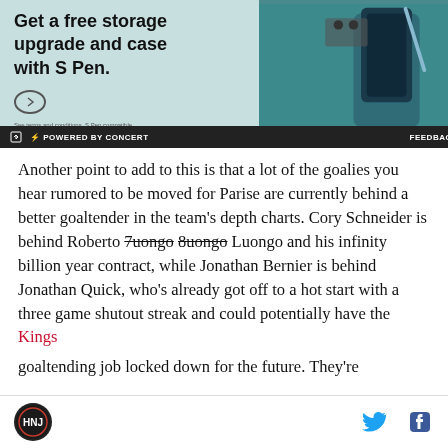[Figure (other): Advertisement banner for Samsung Galaxy Z Fold with S Pen promotion. Shows teal/dark teal phone case and stylus. Text reads 'Get a free storage upgrade and case with S Pen.' Powered by Concert bar at bottom with FEEDBACK link.]
Another point to add to this is that a lot of the goalies you hear rumored to be moved for Parise are currently behind a better goaltender in the team's depth charts. Cory Schneider is behind Roberto Luongo and his infinity billion year contract, while Jonathan Bernier is behind Jonathan Quick, who's already got off to a hot start with a three game shutout streak and could potentially have the Kings goaltending job locked down for the future. They're
HNJ logo | Twitter icon | Facebook icon